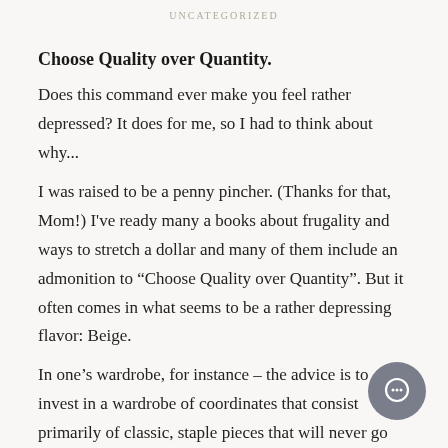UNCATEGORIZED
Choose Quality over Quantity.
Does this command ever make you feel rather depressed? It does for me, so I had to think about why...
I was raised to be a penny pincher. (Thanks for that, Mom!) I've ready many a books about frugality and ways to stretch a dollar and many of them include an admonition to “Choose Quality over Quantity”. But it often comes in what seems to be a rather depressing flavor: Beige.
In one’s wardrobe, for instance – the advice is to invest in a wardrobe of coordinates that consist primarily of classic, staple pieces that will never go out